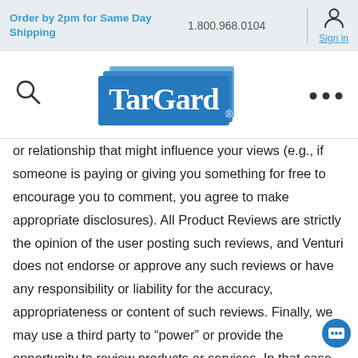Order by 2pm for Same Day Shipping | 1.800.968.0104 | Sign in
[Figure (logo): TarGard logo — blue stacked rectangles with white serif text 'TarGard.' with registered trademark symbol]
or relationship that might influence your views (e.g., if someone is paying or giving you something for free to encourage you to comment, you agree to make appropriate disclosures). All Product Reviews are strictly the opinion of the user posting such reviews, and Venturi does not endorse or approve any such reviews or have any responsibility or liability for the accuracy, appropriateness or content of such reviews. Finally, we may use a third party to “power” or provide the opportunity to review products or services. In that case, you will also need to review the terms of service for that